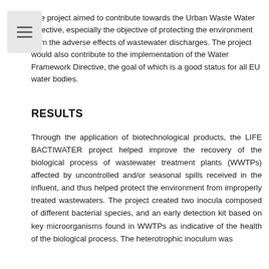The project aimed to contribute towards the Urban Waste Water Directive, especially the objective of protecting the environment from the adverse effects of wastewater discharges. The project would also contribute to the implementation of the Water Framework Directive, the goal of which is a good status for all EU water bodies.
RESULTS
Through the application of biotechnological products, the LIFE BACTIWATER project helped improve the recovery of the biological process of wastewater treatment plants (WWTPs) affected by uncontrolled and/or seasonal spills received in the influent, and thus helped protect the environment from improperly treated wastewaters. The project created two inocula composed of different bacterial species, and an early detection kit based on key microorganisms found in WWTPs as indicative of the health of the biological process. The heterotrophic inoculum was